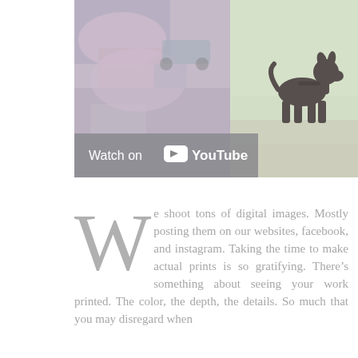[Figure (photo): A split photo showing a colorful outdoor scene on the left and a dark dog (silhouette) standing on a path with green grass in the background on the right. A 'Watch on YouTube' overlay bar appears at the bottom left of the image.]
We shoot tons of digital images. Mostly posting them on our websites, facebook, and instagram. Taking the time to make actual prints is so gratifying. There's something about seeing your work printed. The color, the depth, the details. So much that you may disregard when